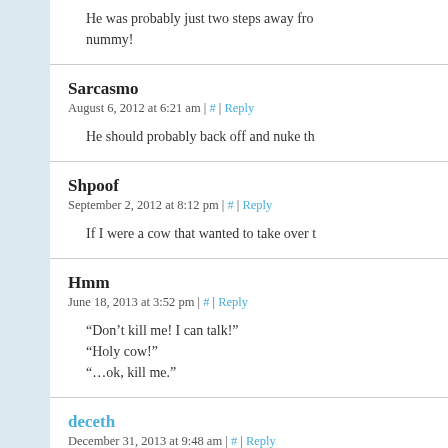He was probably just two steps away from nummy!
Sarcasmo
August 6, 2012 at 6:21 am | # | Reply
He should probably back off and nuke the
Shpoof
September 2, 2012 at 8:12 pm | # | Reply
If I were a cow that wanted to take over t
Hmm
June 18, 2013 at 3:52 pm | # | Reply
“Don’t kill me! I can talk!”
“Holy cow!”
“…ok, kill me.”
deceth
December 31, 2013 at 9:48 am | # | Reply
What’s the markup on talking cow?